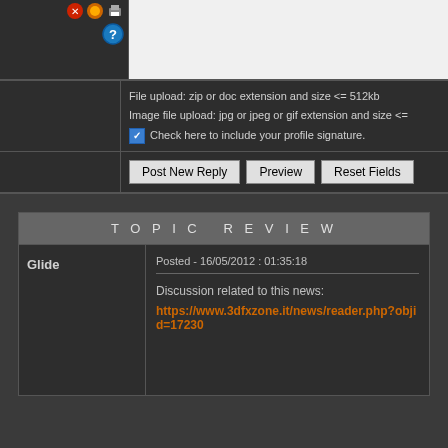File upload: zip or doc extension and size <= 512kb
Image file upload: jpg or jpeg or gif extension and size <=
Check here to include your profile signature.
Post New Reply   Preview   Reset Fields
TOPIC REVIEW
Glide
Posted - 16/05/2012 : 01:35:18
Discussion related to this news:
https://www.3dfxzone.it/news/reader.php?objid=17230